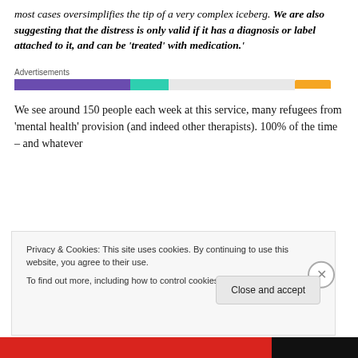most cases oversimplifies the tip of a very complex iceberg. We are also suggesting that the distress is only valid if it has a diagnosis or label attached to it, and can be 'treated' with medication.'
[Figure (other): Advertisements banner with colored progress-bar style segments: purple, teal, light gray gap, and orange]
We see around 150 people each week at this service, many refugees from 'mental health' provision (and indeed other therapists). 100% of the time – and whatever
Privacy & Cookies: This site uses cookies. By continuing to use this website, you agree to their use.
To find out more, including how to control cookies, see here: Cookie Policy